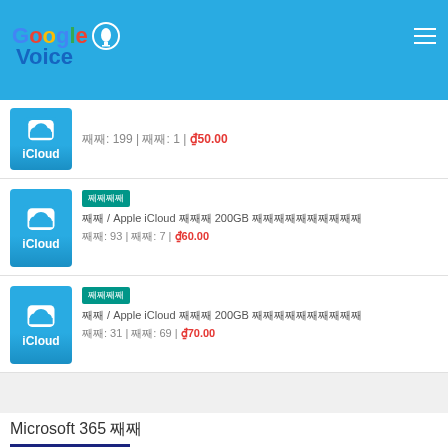Google Voice
째째: 199 | 째째: 1 | ₫50.00
째째째째 / Apple iCloud 째째째 200GB 째째째째째째째째째째 째째: 93 | 째째: 7 | ₫60.00
째째째째 / Apple iCloud 째째째 200GB 째째째째째째째째째째 째째: 31 | 째째: 69 | ₫70.00
Microsoft 365 째째